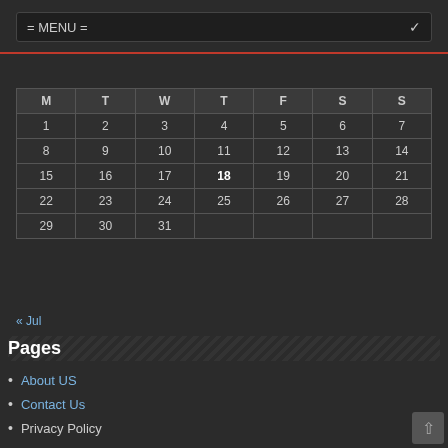= MENU =
August 2022
| M | T | W | T | F | S | S |
| --- | --- | --- | --- | --- | --- | --- |
| 1 | 2 | 3 | 4 | 5 | 6 | 7 |
| 8 | 9 | 10 | 11 | 12 | 13 | 14 |
| 15 | 16 | 17 | 18 | 19 | 20 | 21 |
| 22 | 23 | 24 | 25 | 26 | 27 | 28 |
| 29 | 30 | 31 |  |  |  |  |
« Jul
Pages
About US
Contact Us
Privacy Policy